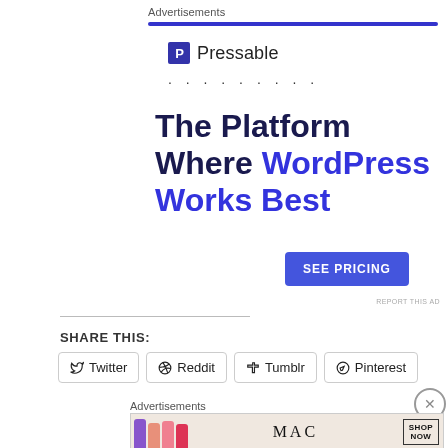Advertisements
[Figure (logo): Pressable logo with blue P icon and dots below]
The Platform Where WordPress Works Best
SEE PRICING
REPORT THIS AD
SHARE THIS:
Twitter  Reddit  Tumblr  Pinterest
Advertisements
[Figure (photo): MAC cosmetics advertisement with lipsticks and SHOP NOW button]